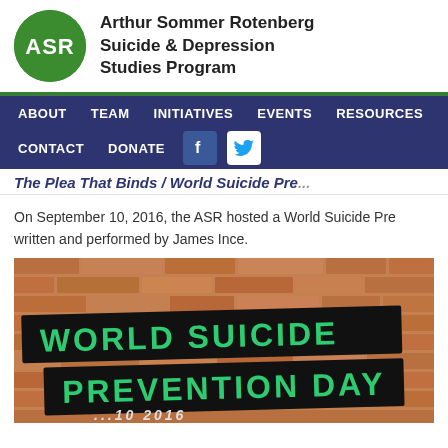[Figure (logo): ASR circular green logo with white text 'ASR']
Arthur Sommer Rotenberg Suicide & Depression Studies Program
ABOUT  TEAM  INITIATIVES  EVENTS  RESOURCES  CONTACT  DONATE
The Plea That Binds / World Suicide Pre...
On September 10, 2016, the ASR hosted a World Suicide Pre- written and performed by James Ince.
[Figure (photo): Photo of a brick wall with two black banners reading 'WORLD SUICIDE PREVENTION DAY' in large green text, with partial date visible at bottom]